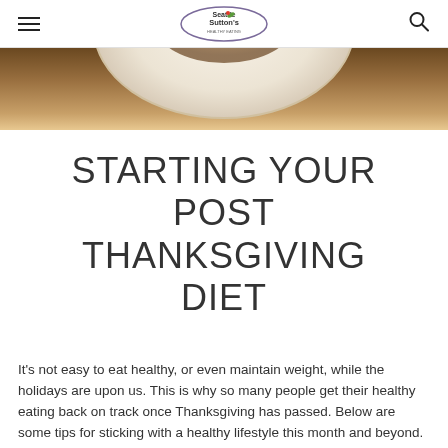Seattle Sutton's Healthy Eating — navigation header with hamburger menu and search icon
[Figure (photo): Top portion of a food photograph showing a plate with turkey or similar Thanksgiving food, warm brown tones, partially cropped by page edge]
STARTING YOUR POST THANKSGIVING DIET
It’s not easy to eat healthy, or even maintain weight, while the holidays are upon us. This is why so many people get their healthy eating back on track once Thanksgiving has passed. Below are some tips for sticking with a healthy lifestyle this month and beyond.